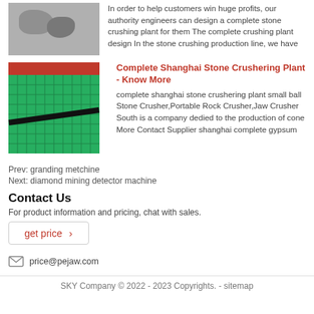[Figure (photo): Stone/rock crushing image at top]
In order to help customers win huge profits, our authority engineers can design a complete stone crushing plant for them The complete crushing plant design In the stone crushing production line, we have
[Figure (photo): Green metal grid/screen with red bar at top - industrial screen or sieve]
Complete Shanghai Stone Crushering Plant - Know More
complete shanghai stone crushering plant small ball Stone Crusher,Portable Rock Crusher,Jaw Crusher South is a company dedied to the production of cone More Contact Supplier shanghai complete gypsum
Prev: granding metchine
Next: diamond mining detector machine
Contact Us
For product information and pricing, chat with sales.
get price ›
price@pejaw.com
SKY Company © 2022 - 2023 Copyrights. - sitemap